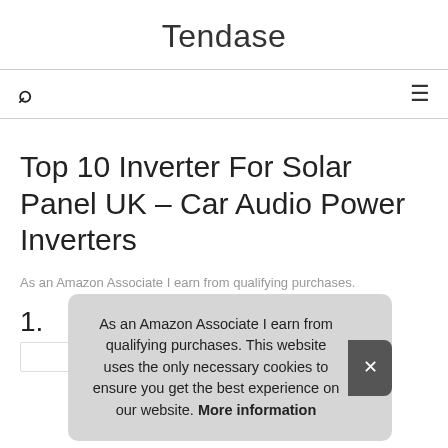Tendase
As an Amazon Associate I earn from qualifying purchases.
Top 10 Inverter For Solar Panel UK – Car Audio Power Inverters
As an Amazon Associate I earn from qualifying purchases.
1.
As an Amazon Associate I earn from qualifying purchases. This website uses the only necessary cookies to ensure you get the best experience on our website. More information